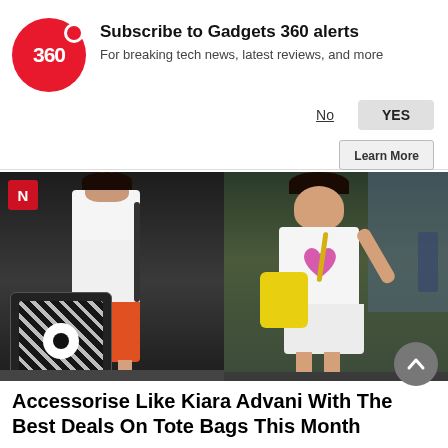[Figure (screenshot): Gadgets 360 notification subscription banner with red 360 logo, title 'Subscribe to Gadgets 360 alerts', subtitle 'For breaking tech news, latest reviews, and more', and No/YES buttons]
[Figure (photo): Two side-by-side photos of Kiara Advani carrying tote bags at an airport. Left photo shows her with a black and white patterned tote bag wearing white top and orange skirt. Right photo shows her with a yellow bag wearing white t-shirt with pink heart graphic and white shorts. An 'N' news logo is visible in top left corner.]
Accessorise Like Kiara Advani With The Best Deals On Tote Bags This Month